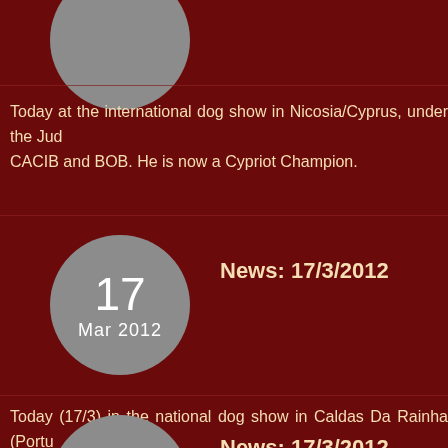[Figure (other): Gray circle with date, partially visible at top]
Today at the international dog show in Nicosia/Cyprus, under the Jud... CACIB and BOB. He is now a Cypriot Champion.
[Figure (other): Gray circle with 17 Mar 2012]
News: 17/3/2012
Today (17/3) in the national dog show in Caldas Da Rainha (Portu... BOS.Judge M. L. Borges.
[Figure (other): Gray circle with 17 Mar 2012]
News: 17/3/2012